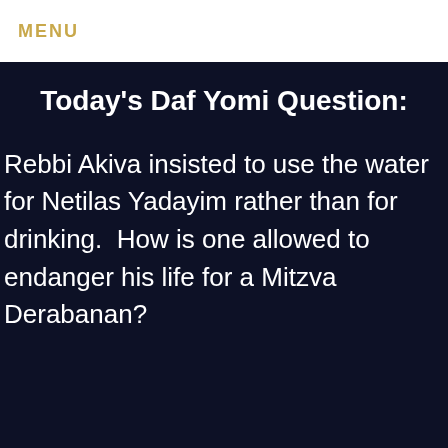MENU
Today's Daf Yomi Question:
Rebbi Akiva insisted to use the water for Netilas Yadayim rather than for drinking.  How is one allowed to endanger his life for a Mitzva Derabanan?